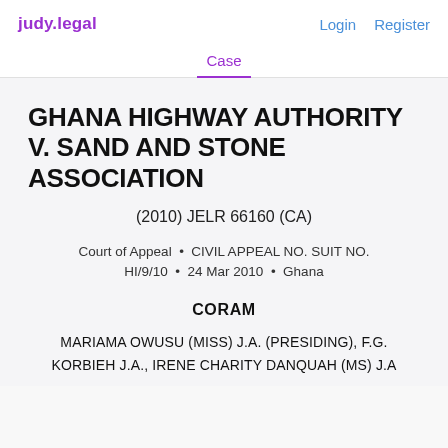judy.legal   Login   Register
Case
GHANA HIGHWAY AUTHORITY V. SAND AND STONE ASSOCIATION
(2010) JELR 66160 (CA)
Court of Appeal • CIVIL APPEAL NO. SUIT NO. HI/9/10 • 24 Mar 2010 • Ghana
CORAM
MARIAMA OWUSU (MISS) J.A. (PRESIDING), F.G. KORBIEH J.A., IRENE CHARITY DANQUAH (MS) J.A